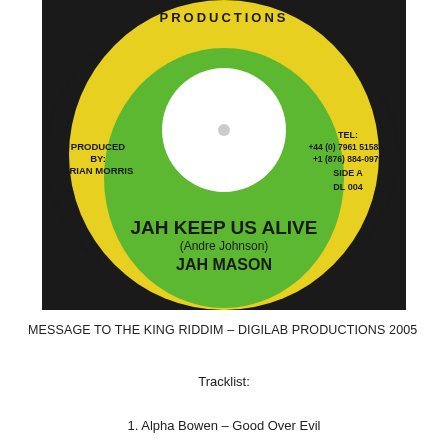[Figure (photo): Vinyl record label for 'Jah Keep Us Alive' by Jah Mason on a yellow and green circular label. Text includes: PRODUCTIONS at top, PRODUCED BY: BRIAN MORRIS on left, TEL: +44 (0) 7961 515837, +1 (876) 884-0979, SIDE A, DL 004 on right, JAH KEEP US ALIVE (Andre Johnson) JAH MASON in center, copyright text around the edge.]
MESSAGE TO THE KING RIDDIM – DIGILAB PRODUCTIONS 2005
Tracklist:
1. Alpha Bowen – Good Over Evil